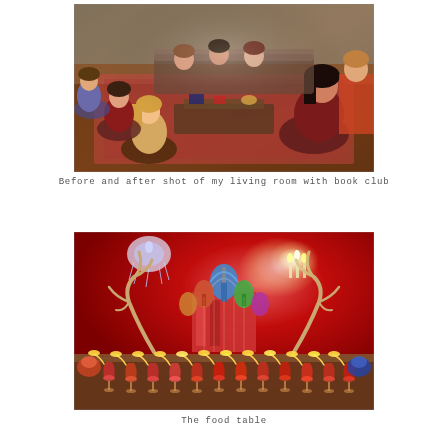[Figure (photo): A living room full of women seated on the floor and furniture during a book club gathering. Warm indoor lighting, patterned rug, coffee table with items, people socializing.]
Before and after shot of my living room with book club
[Figure (photo): An elaborate Russian-themed food and drinks table with red backdrop, chandelier, Saint Basil's Cathedral replica, antler decorations, and rows of cocktail glasses garnished with lemon slices.]
The food table